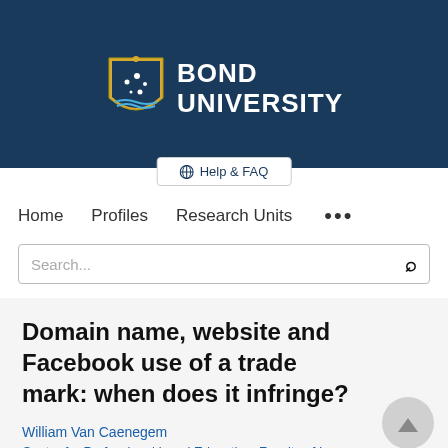[Figure (logo): Bond University logo with crest/shield and text 'BOND UNIVERSITY' on dark navy background]
⊕ Help & FAQ
Home   Profiles   Research Units   ...
Search...
Domain name, website and Facebook use of a trade mark: when does it infringe?
William Van Caenegem
Centre for Professional Legal Education, Faculty of L...